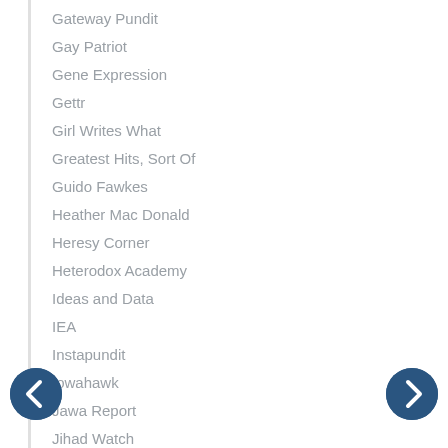Gateway Pundit
Gay Patriot
Gene Expression
Gettr
Girl Writes What
Greatest Hits, Sort Of
Guido Fawkes
Heather Mac Donald
Heresy Corner
Heterodox Academy
Ideas and Data
IEA
Instapundit
Iowahawk
Jawa Report
Jihad Watch
Jonah Goldberg
Jordan Peterson
Ka-Ching!
Kevin Williamson
La Griffe du Lion
Language Log
Last Ditch
Laughing Squid